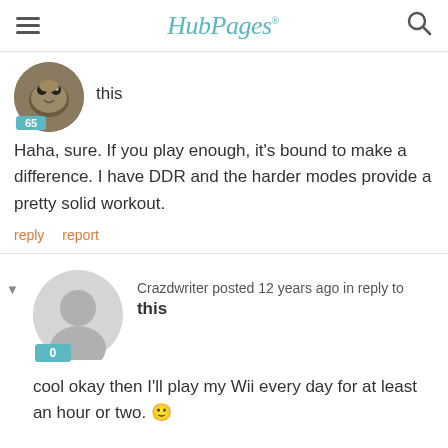HubPages
this
Haha, sure. If you play enough, it's bound to make a difference. I have DDR and the harder modes provide a pretty solid workout.
reply   report
Crazdwriter posted 12 years ago in reply to this
cool okay then I'll play my Wii every day for at least an hour or two. 🙂